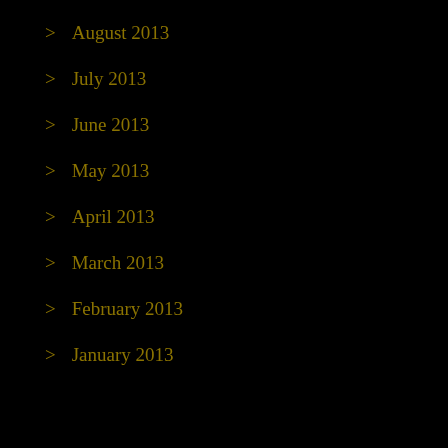August 2013
July 2013
June 2013
May 2013
April 2013
March 2013
February 2013
January 2013